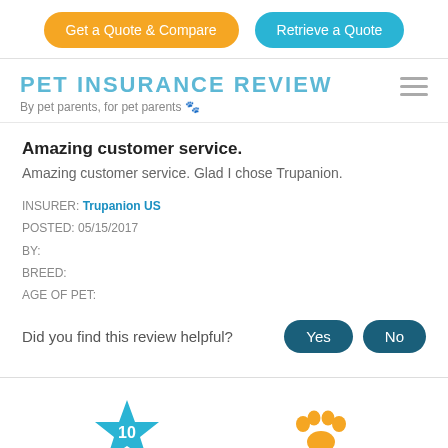Get a Quote & Compare | Retrieve a Quote
PET INSURANCE REVIEW
By pet parents, for pet parents 🐾
Amazing customer service.
Amazing customer service. Glad I chose Trupanion.
INSURER: Trupanion US
POSTED: 05/15/2017
BY:
BREED:
AGE OF PET:
Did you find this review helpful?
[Figure (other): Blue star with number 10 inside (rating icon) and gold paw print icon]